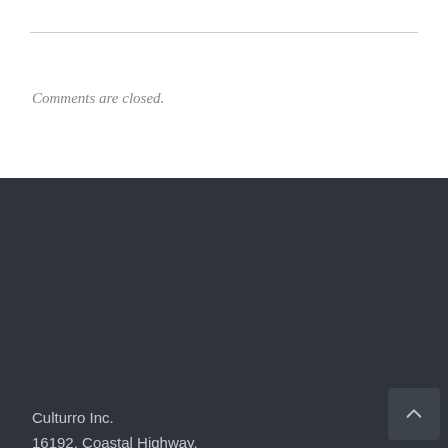Comments are closed.
Culturro Inc.
16192, Coastal Highway,
Lewes, Delaware, 19958, USA
sales@culturro.com
+91-98102-37038